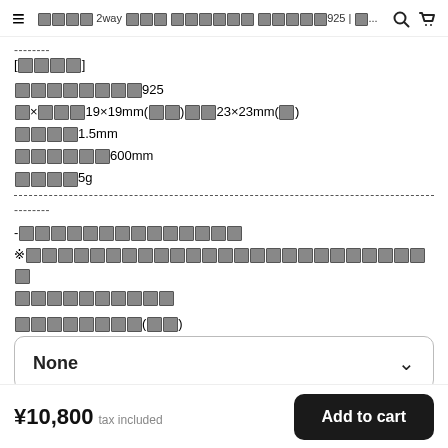≡  [tofu] 2way [tofu][tofu][tofu] [tofu][tofu][tofu][tofu][tofu][tofu] [tofu][tofu][tofu][tofu][tofu]925 | [tofu]...  🔍  🛒
--------
[tofu][tofu][tofu][tofu]
[tofu][tofu][tofu][tofu][tofu][tofu][tofu][tofu]925
[tofu]×[tofu][tofu][tofu]19×19mm([tofu][tofu])[tofu][tofu]23×23mm([tofu])
[tofu][tofu][tofu][tofu]1.5mm
[tofu][tofu][tofu][tofu][tofu][tofu]600mm
[tofu][tofu][tofu][tofu]5g
--------
-[tofu][tofu][tofu][tofu][tofu][tofu][tofu][tofu][tofu][tofu][tofu][tofu][tofu][tofu]
※[tofu][tofu][tofu][tofu][tofu][tofu][tofu][tofu][tofu][tofu][tofu][tofu][tofu][tofu][tofu][tofu][tofu][tofu][tofu][tofu][tofu][tofu][tofu][tofu][tofu][tofu]
[tofu][tofu][tofu][tofu][tofu][tofu][tofu][tofu][tofu][tofu]
[tofu][tofu][tofu][tofu][tofu][tofu][tofu][tofu]([tofu][tofu])
None
¥10,800 tax included  Add to cart